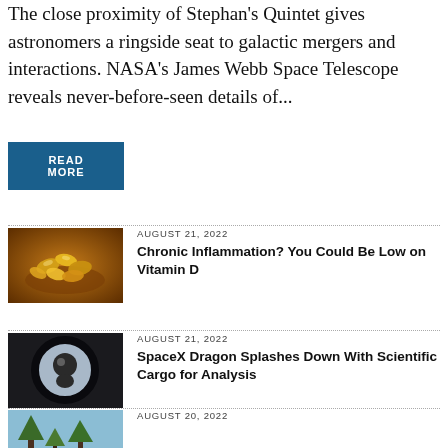The close proximity of Stephan's Quintet gives astronomers a ringside seat to galactic mergers and interactions. NASA's James Webb Space Telescope reveals never-before-seen details of...
READ MORE
[Figure (photo): Photo of vitamin D capsules/supplements in a bowl with spilled pills, warm amber tones]
AUGUST 21, 2022
Chronic Inflammation? You Could Be Low on Vitamin D
[Figure (photo): Photo of an astronaut viewed through a circular hatch/window in a spacecraft]
AUGUST 21, 2022
SpaceX Dragon Splashes Down With Scientific Cargo for Analysis
[Figure (photo): Photo of a natural outdoor scene with trees]
AUGUST 20, 2022